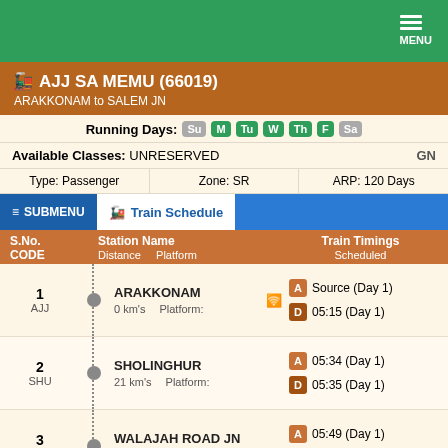MENU
AJJ SA MEMU (66019) — ARAKKONAM to SALEM JN
Running Days: Su M Tu W Th F Sa
Available Classes: UNRESERVED   GN
Type: Passenger   Zone: SR   ARP: 120 Days
Train Schedule
| S.No. CODE | Station Name / Distance / Platform | Train Timings Scheduled |
| --- | --- | --- |
| 1
AJJ | ARAKKONAM
0 km's  Platform: | A: Source (Day 1)
D: 05:15 (Day 1) |
| 2
SHU | SHOLINGHUR
21 km's  Platform: | A: 05:34 (Day 1)
D: 05:35 (Day 1) |
| 3
WJR | WALAJAH ROAD JN
36 km's  Platform: 1 | A: 05:49 (Day 1)
D: 05:50 (Day 1) |
| 4
MGN | MUKUNDARAYAPURM
44 km's  Platform: 1 | A: 06:02 (Day 1) |